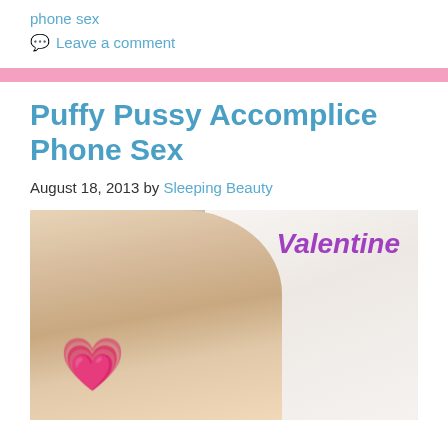phone sex
💬 Leave a comment
Puffy Pussy Accomplice Phone Sex
August 18, 2013 by Sleeping Beauty
[Figure (photo): Blonde woman lying on white pillows/bedding, smiling at camera. Pink heart graphic in lower left corner. Purple/violet cursive text 'Valentine' in upper right area.]